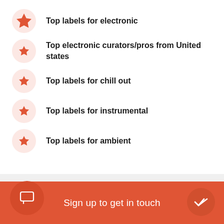Top labels for electronic
Top electronic curators/pros from United states
Top labels for chill out
Top labels for instrumental
Top labels for ambient
Sign up to get in touch